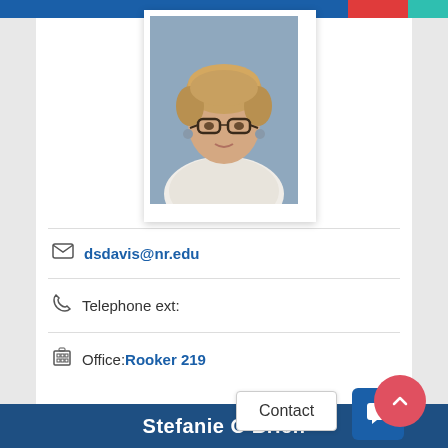[Figure (photo): Professional headshot of a woman with short blonde/brown hair, glasses, wearing a white sweater, against a blue-grey background]
dsdavis@nr.edu
Telephone ext:
Office: Rooker 219
Contact
Stefanie O'Brien